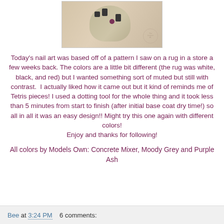[Figure (photo): Close-up photo of a fingernail with geometric dotting tool nail art in grey, black, and purple/maroon colors on a beige base, resembling Tetris pieces. A circular watermark is visible in the bottom right.]
Today's nail art was based off of a pattern I saw on a rug in a store a few weeks back. The colors are a little bit different (the rug was white, black, and red) but I wanted something sort of muted but still with contrast.  I actually liked how it came out but it kind of reminds me of Tetris pieces! I used a dotting tool for the whole thing and it took less than 5 minutes from start to finish (after initial base coat dry time!) so all in all it was an easy design!! Might try this one again with different colors!
Enjoy and thanks for following!
All colors by Models Own: Concrete Mixer, Moody Grey and Purple Ash
Bee at 3:24 PM    6 comments: